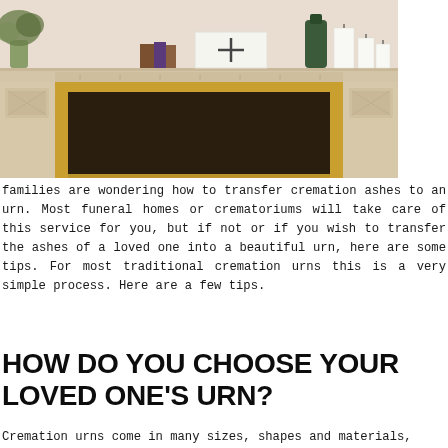[Figure (photo): A marble fireplace mantel with decorative carvings. On the shelf sits a white box with a cross design, several old books, a green bottle/vase, white pillar candles of varying heights, and a vase with dried greenery/branches. The fireplace opening is visible below, framed in gold/brass-colored metal.]
families are wondering how to transfer cremation ashes to an urn. Most funeral homes or crematoriums will take care of this service for you, but if not or if you wish to transfer the ashes of a loved one into a beautiful urn, here are some tips. For most traditional cremation urns this is a very simple process. Here are a few tips.
HOW DO YOU CHOOSE YOUR LOVED ONE'S URN?
Cremation urns come in many sizes, shapes and materials,